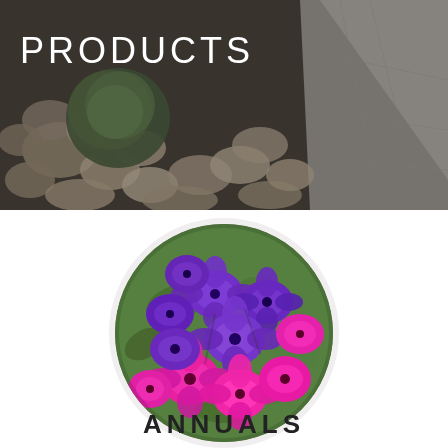[Figure (photo): Header background photo showing decorative garden rocks and stones with a round green moss/shrub ball in the center-left, and a triangular paved pathway in the upper-right corner. Dark overlay applied.]
PRODUCTS
[Figure (photo): Circular cropped photo of vibrant purple and magenta petunia flowers in a hanging basket, with green foliage visible between the blooms.]
ANNUALS